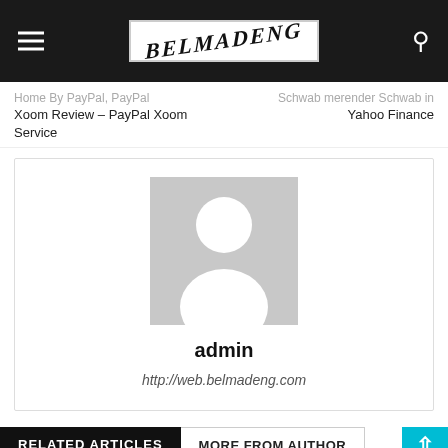BELMADENG
Xoom Review – PayPal Xoom Service
Yahoo Finance
[Figure (photo): Author avatar placeholder – grey square with white person silhouette icon]
admin
http://web.belmadeng.com
RELATED ARTICLES	MORE FROM AUTHOR
Bitcoin